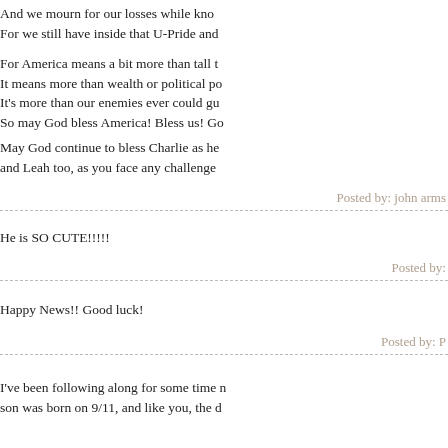And we mourn for our losses while know...
For we still have inside that U-Pride and...
For America means a bit more than tall t...
It means more than wealth or political po...
It's more than our enemies ever could gu...
So may God bless America! Bless us! Go...
May God continue to bless Charlie as he...
and Leah too, as you face any challenge...
Posted by: john arms...
He is SO CUTE!!!!!
Posted by:
Happy News!! Good luck!
Posted by: P...
I've been following along for some time n...
son was born on 9/11, and like you, the d...